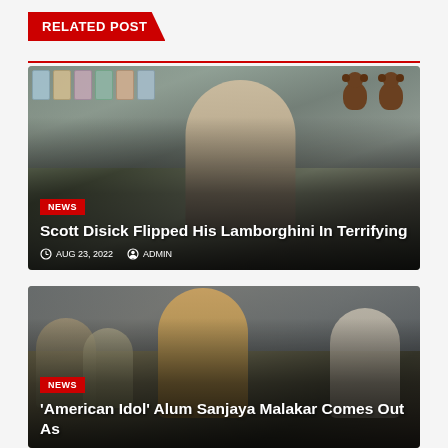RELATED POST
[Figure (photo): Man standing in front of a candy/toy store with teddy bears and products visible on shelves]
Scott Disick Flipped His Lamborghini In Terrifying
NEWS
AUG 23, 2022  ADMIN
[Figure (photo): Young man with long curly hair outdoors in a crowd with other people around him]
NEWS
'American Idol' Alum Sanjaya Malakar Comes Out As